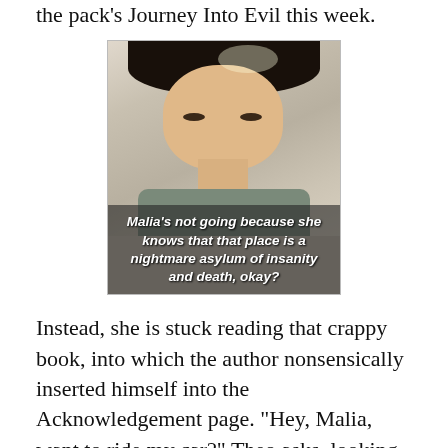the pack's Journey Into Evil this week.
[Figure (screenshot): A young man with dark hair, photo with subtitle text overlay reading: Malia's not going because she knows that that place is a nightmare asylum of insanity and death, okay?]
Instead, she is stuck reading that crappy book, into which the author nonsensically inserted himself into the Acknowledgement page. "Hey, Malia, want to ride my car?" Theo asks, looking so shady as he confronts her, that he might as well be curling an evil black mustache, and strangling an angel child with his bare hands, as he speaks.
"Is that a euphemism for sex?" Malia wonders, as Evil